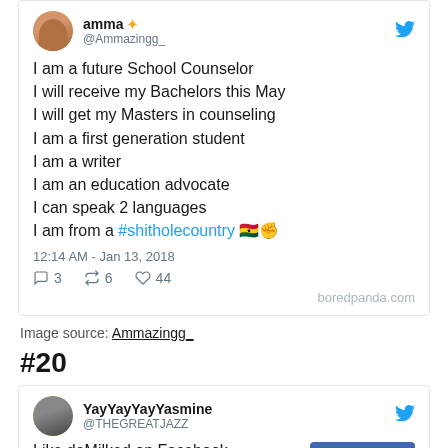[Figure (screenshot): Tweet screenshot from @Ammazingg_ (amma) with star emoji, listing accomplishments: future School Counselor, receiving Bachelors in May, getting Masters in counseling, first generation student, writer, education advocate, can speak 2 languages, from a #shitholecountry with Ghana flag and fist emojis. Posted 12:14 AM Jan 13 2018. 3 replies, 6 retweets, 44 likes. boredpanda.com watermark.]
Image source: Ammazingg_
#20
[Figure (screenshot): Partial tweet screenshot from YayYayYayYasmine (@THEGREATJAZZ) with Like deMilked on Facebook button showing 2.7M likes, and partial text about university graduate.]